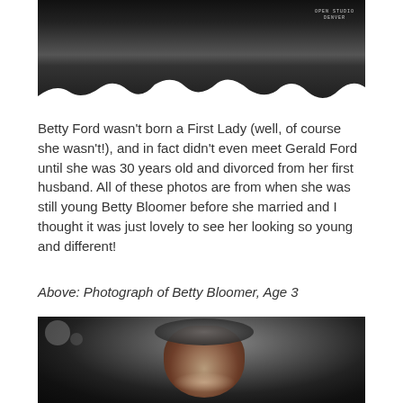[Figure (photo): Black and white old photograph (top portion), appears torn or damaged at the bottom edge, with a studio stamp reading 'OPEN STUDIO DENVER' in the upper right corner.]
Betty Ford wasn't born a First Lady (well, of course she wasn't!), and in fact didn't even meet Gerald Ford until she was 30 years old and divorced from her first husband.  All of these photos are from when she was still young Betty Bloomer before she married and I thought it was just lovely to see her looking so young and different!
Above: Photograph of Betty Bloomer, Age 3
[Figure (photo): Black and white photograph of a smiling young woman (Betty Bloomer) with styled 1940s hair, looking up slightly and laughing, taken from a slightly low angle.]